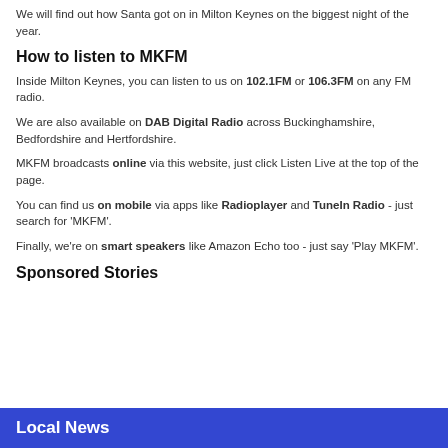We will find out how Santa got on in Milton Keynes on the biggest night of the year.
How to listen to MKFM
Inside Milton Keynes, you can listen to us on 102.1FM or 106.3FM on any FM radio.
We are also available on DAB Digital Radio across Buckinghamshire, Bedfordshire and Hertfordshire.
MKFM broadcasts online via this website, just click Listen Live at the top of the page.
You can find us on mobile via apps like Radioplayer and TuneIn Radio - just search for 'MKFM'.
Finally, we're on smart speakers like Amazon Echo too - just say 'Play MKFM'.
Sponsored Stories
Local News